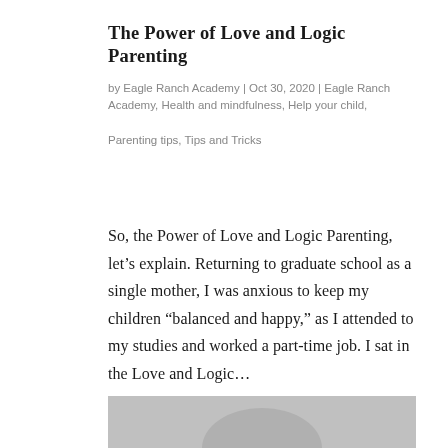The Power of Love and Logic Parenting
by Eagle Ranch Academy | Oct 30, 2020 | Eagle Ranch Academy, Health and mindfulness, Help your child, Parenting tips, Tips and Tricks
So, the Power of Love and Logic Parenting, let’s explain. Returning to graduate school as a single mother, I was anxious to keep my children “balanced and happy,” as I attended to my studies and worked a part-time job. I sat in the Love and Logic…
[Figure (photo): Partially visible photograph at the bottom of the page, appears to be a grayscale image, content not fully visible.]